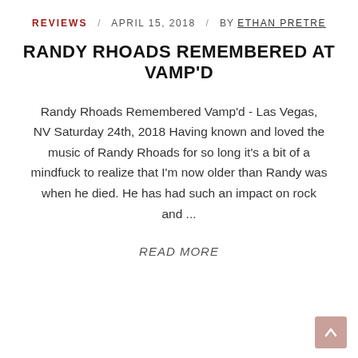REVIEWS / APRIL 15, 2018 / BY ETHAN PRETRE
RANDY RHOADS REMEMBERED AT VAMP'D
Randy Rhoads Remembered Vamp'd - Las Vegas, NV Saturday 24th, 2018 Having known and loved the music of Randy Rhoads for so long it's a bit of a mindfuck to realize that I'm now older than Randy was when he died. He has had such an impact on rock and ...
READ MORE